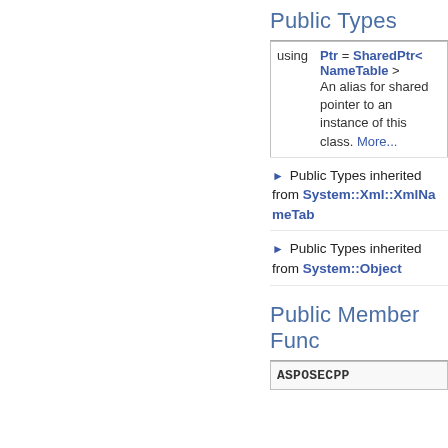Public Types
| using | Ptr = SharedPtr< NameTable > An alias for shared pointer to an instance of this class. More... |
▶ Public Types inherited from System::Xml::XmlNameTable
▶ Public Types inherited from System::Object
Public Member Func
| ASPOSECPP |